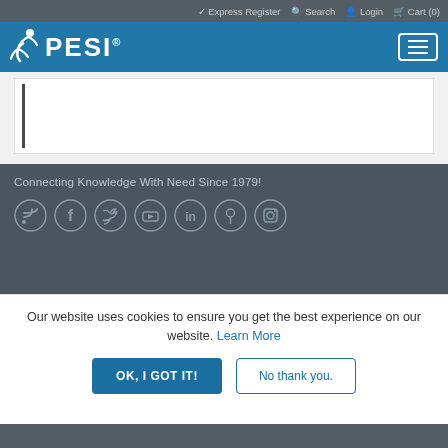✓ Express Register  🔍 Search  👤 Login  🛒 Cart (0)
[Figure (logo): PESI logo with running figure icon on blue navigation bar with hamburger menu button]
Connecting Knowledge With Need Since 1979!
[Figure (infographic): Social media icons in circles: RSS feed, Facebook, Twitter, YouTube, LinkedIn, Pinterest, Instagram]
Our website uses cookies to ensure you get the best experience on our website. Learn More
OK, I GOT IT!   No thank you.